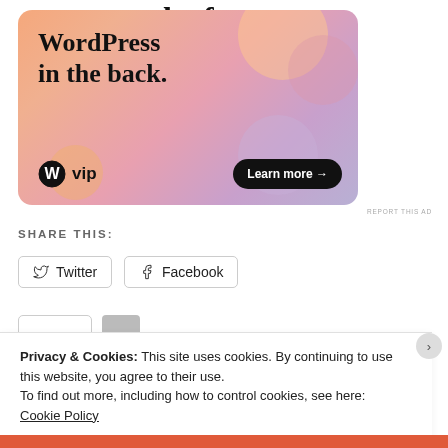the front...
[Figure (illustration): WordPress VIP advertisement banner with gradient orange-pink-purple background showing text 'WordPress in the back.' with WordPress VIP logo and 'Learn more →' button]
REPORT THIS AD
SHARE THIS:
Twitter
Facebook
Privacy & Cookies: This site uses cookies. By continuing to use this website, you agree to their use.
To find out more, including how to control cookies, see here:
Cookie Policy
Close and accept